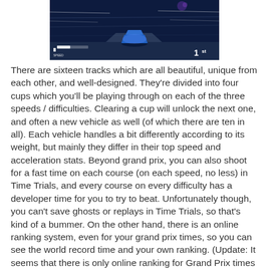[Figure (screenshot): Racing game screenshot showing a blue vehicle from behind speeding on a track, with a HUD bar at the bottom left and a '1st' rank indicator at the bottom right]
There are sixteen tracks which are all beautiful, unique from each other, and well-designed. They're divided into four cups which you'll be playing through on each of the three speeds / difficulties. Clearing a cup will unlock the next one, and often a new vehicle as well (of which there are ten in all). Each vehicle handles a bit differently according to its weight, but mainly they differ in their top speed and acceleration stats. Beyond grand prix, you can also shoot for a fast time on each course (on each speed, no less) in Time Trials, and every course on every difficulty has a developer time for you to try to beat. Unfortunately though, you can't save ghosts or replays in Time Trials, so that's kind of a bummer. On the other hand, there is an online ranking system, even for your grand prix times, so you can see the world record time and your own ranking. (Update: It seems that there is only online ranking for Grand Prix times and not for Time Trials. Weird.) There's also "Hero Mode", which is unlocked for tracks you've cleared on the highest speed. In this mode, you must